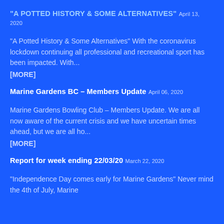"A POTTED HISTORY & SOME ALTERNATIVES" April 13, 2020
"A Potted History & Some Alternatives" With the coronavirus lockdown continuing all professional and recreational sport has been impacted. With...
[MORE]
Marine Gardens BC – Members Update April 06, 2020
Marine Gardens Bowling Club – Members Update. We are all now aware of the current crisis and we have uncertain times ahead, but we are all ho...
[MORE]
Report for week ending 22/03/20 March 22, 2020
"Independence Day comes early for Marine Gardens" Never mind the 4th of July, Marine